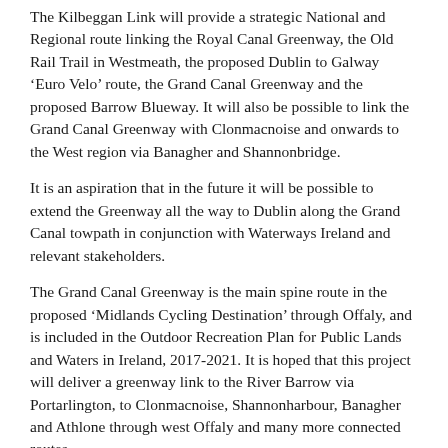The Kilbeggan Link will provide a strategic National and Regional route linking the Royal Canal Greenway, the Old Rail Trail in Westmeath, the proposed Dublin to Galway 'Euro Velo' route, the Grand Canal Greenway and the proposed Barrow Blueway. It will also be possible to link the Grand Canal Greenway with Clonmacnoise and onwards to the West region via Banagher and Shannonbridge.
It is an aspiration that in the future it will be possible to extend the Greenway all the way to Dublin along the Grand Canal towpath in conjunction with Waterways Ireland and relevant stakeholders.
The Grand Canal Greenway is the main spine route in the proposed ‘Midlands Cycling Destination’ through Offaly, and is included in the Outdoor Recreation Plan for Public Lands and Waters in Ireland, 2017-2021. It is hoped that this project will deliver a greenway link to the River Barrow via Portarlington, to Clonmacnoise, Shannonharbour, Banagher and Athlone through west Offaly and many more connected routes.